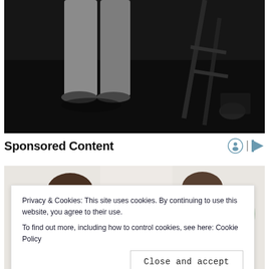[Figure (photo): Black and white photo showing lower body of a person standing on dark floor/carpet, with a chair or furniture visible on the right side]
Sponsored Content
[Figure (photo): Color photo showing people, partially visible, background shows interior setting]
Privacy & Cookies: This site uses cookies. By continuing to use this website, you agree to their use.
To find out more, including how to control cookies, see here: Cookie Policy
Close and accept